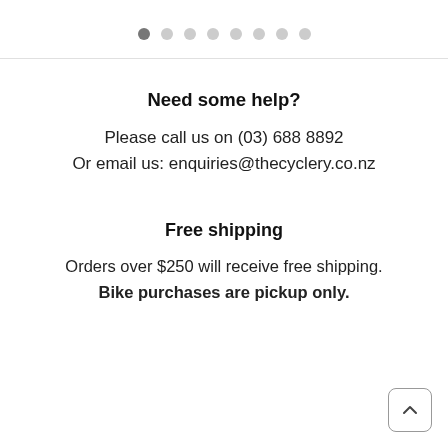[Figure (other): Pagination dots row: one filled dark dot followed by seven lighter dots]
Need some help?
Please call us on (03) 688 8892
Or email us: enquiries@thecyclery.co.nz
Free shipping
Orders over $250 will receive free shipping.
Bike purchases are pickup only.